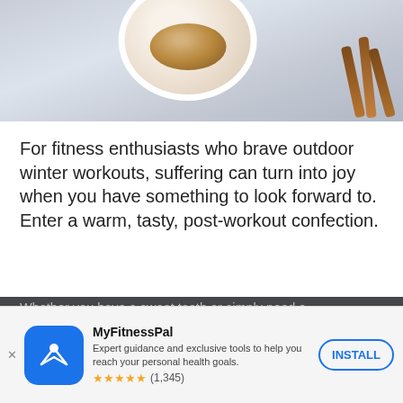[Figure (photo): Food photo showing a white bowl of granola and cinnamon sticks on a grey checked cloth background, cropped at top of page]
For fitness enthusiasts who brave outdoor winter workouts, suffering can turn into joy when you have something to look forward to. Enter a warm, tasty, post-workout confection.
Whether you have a sweet tooth or simply need a comforting reward after a sub-zero run, these six
You're taking control of your
[Figure (screenshot): MyFitnessPal app install advertisement banner with blue icon, app name, description, star rating (1,345 reviews), and INSTALL button]